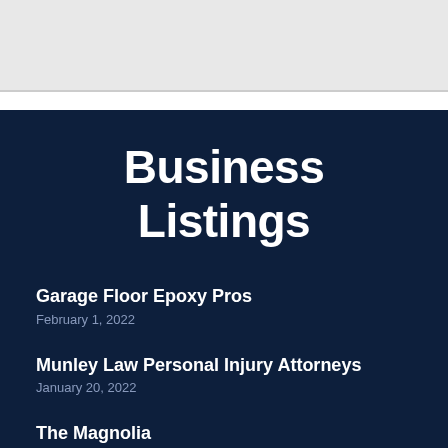Business Listings
Garage Floor Epoxy Pros
February 1, 2022
Munley Law Personal Injury Attorneys
January 20, 2022
The Magnolia